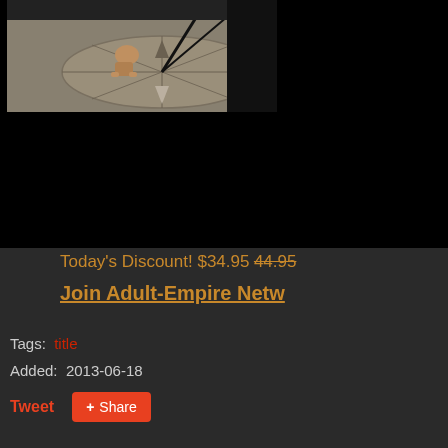[Figure (screenshot): 3D rendered video game scene showing a figure crouching on a stone circular platform with compass-like markings, dark background]
To top
Today's Discount! $34.95 44.95
Join Adult-Empire Netw
Tags: title
Added: 2013-06-18
Tweet
+ Share